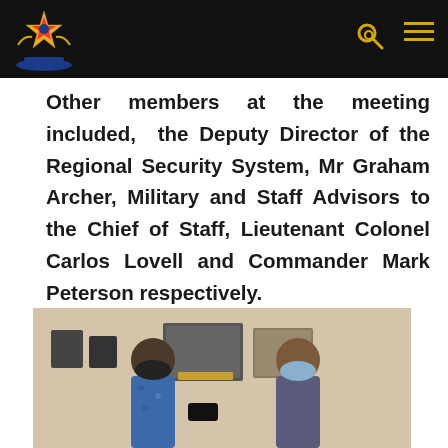Navigation header with military logo, search icon, and menu icon
Other members at the meeting included, the Deputy Director of the Regional Security System, Mr Graham Archer, Military and Staff Advisors to the Chief of Staff, Lieutenant Colonel Carlos Lovell and Commander Mark Peterson respectively.
[Figure (photo): Two men wearing face masks standing indoors, with framed pictures and plaques visible on the wall behind them. One man is wearing a blue floral shirt.]